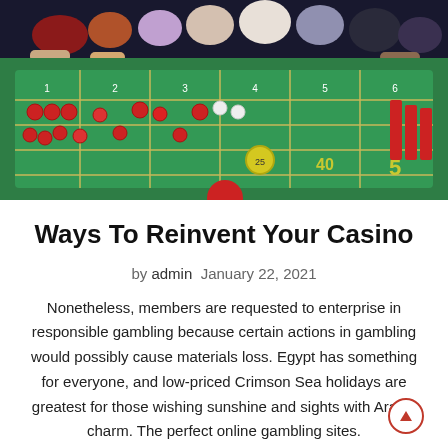[Figure (photo): Casino craps/roulette table with green felt, red and white chips, betting grid visible. People standing around the table in the background.]
Ways To Reinvent Your Casino
by admin  January 22, 2021
Nonetheless, members are requested to enterprise in responsible gambling because certain actions in gambling would possibly cause materials loss. Egypt has something for everyone, and low-priced Crimson Sea holidays are greatest for those wishing sunshine and sights with Arabic charm. The perfect online gambling sites.